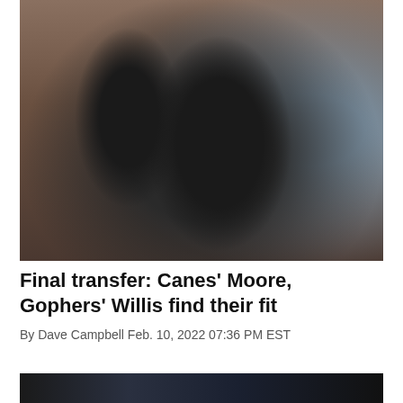[Figure (photo): Two basketball players in black uniforms hugging and celebrating on a court, one laughing joyfully with an American flag patch visible on jersey, crowd visible in background with orange colors]
Final transfer: Canes' Moore, Gophers' Willis find their fit
By Dave Campbell Feb. 10, 2022 07:36 PM EST
[Figure (screenshot): Partial view of a dark-background image at bottom of page, appears to be another article image]